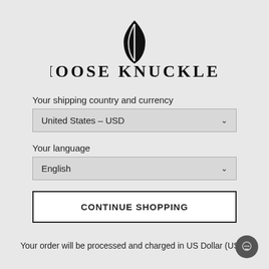[Figure (logo): Moose Knuckles brand logo with a moose head icon above the text MOOSE KNUCKLES in a serif font]
Your shipping country and currency
United States – USD
Your language
English
CONTINUE SHOPPING
Your order will be processed and charged in US Dollar (USD)